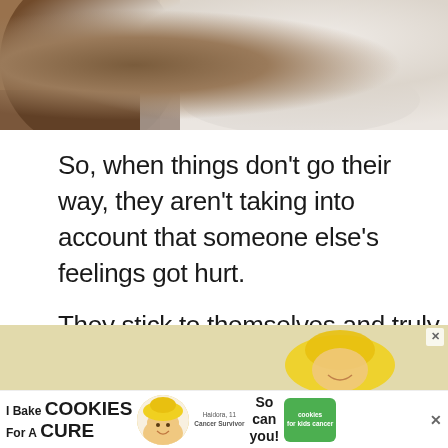[Figure (photo): Top portion of a photo showing a person with long brown hair wearing a white long-sleeve shirt, partially cropped]
So, when things don't go their way, they aren't taking into account that someone else's feelings got hurt.
They stick to themselves and truly believe they got wronged, so they assume the role of a victim.
[Figure (infographic): Social interaction sidebar with heart/like button showing 361 likes and a share button]
[Figure (infographic): What's Next widget showing a thumbnail image and text 'Dating Advice For Men: Thi...']
[Figure (photo): Partial view of advertisement image showing a child with yellow hat]
[Figure (infographic): Advertisement banner: I Bake COOKIES For A CURE - Haidora, 11 Cancer Survivor - So can you! - cookies for kids cancer logo]